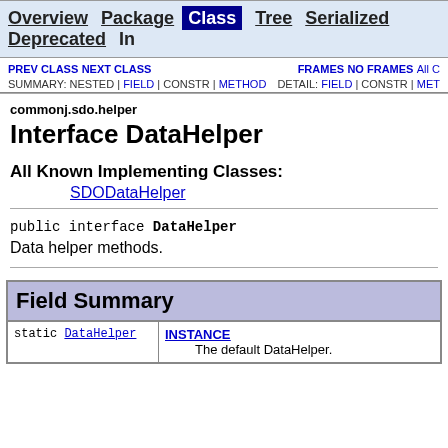Overview Package Class Tree Serialized Deprecated In...
PREV CLASS  NEXT CLASS  FRAMES  NO FRAMES  All C... SUMMARY: NESTED | FIELD | CONSTR | METHOD   DETAIL: FIELD | CONSTR | MET...
commonj.sdo.helper
Interface DataHelper
All Known Implementing Classes:
SDODataHelper
public interface DataHelper
Data helper methods.
|  | Field Summary |
| --- | --- |
| static DataHelper | INSTANCE
The default DataHelper. |